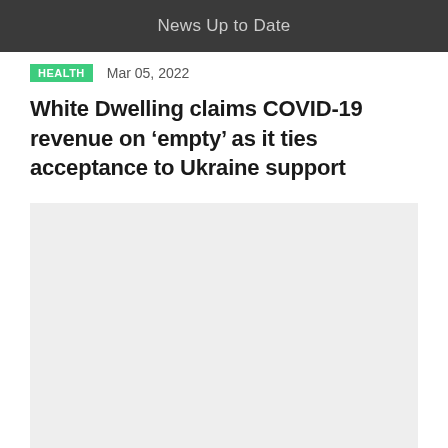News Up to Date
HEALTH   Mar 05, 2022
White Dwelling claims COVID-19 revenue on ‘empty’ as it ties acceptance to Ukraine support
[Figure (photo): Large light gray placeholder image area below the article headline]